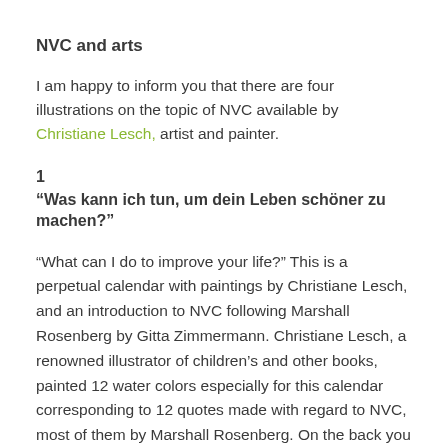NVC and arts
I am happy to inform you that there are four illustrations on the topic of NVC available by Christiane Lesch, artist and painter.
1
“Was kann ich tun, um dein Leben schöner zu machen?”
“What can I do to improve your life?” This is a perpetual calendar with paintings by Christiane Lesch, and an introduction to NVC following Marshall Rosenberg by Gitta Zimmermann. Christiane Lesch, a renowned illustrator of children’s and other books, painted 12 water colors especially for this calendar corresponding to 12 quotes made with regard to NVC, most of them by Marshall Rosenberg. On the back you will find some essential features of NVC. This calendar is a wonderful